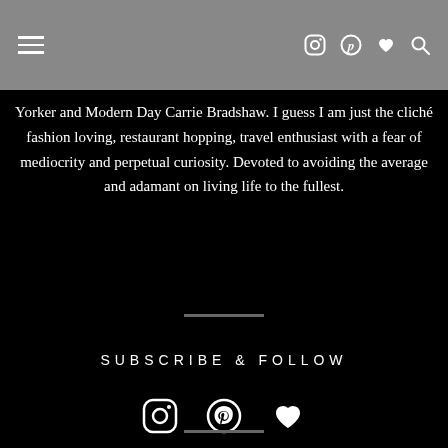Navigation bar with hamburger menu and social icons (Instagram, Pinterest, Heart, Search)
Yorker and Modern Day Carrie Bradshaw. I guess I am just the cliché fashion loving, restaurant hopping, travel enthusiast with a fear of mediocrity and perpetual curiosity. Devoted to avoiding the average and adamant on living life to the fullest.
SUBSCRIBE & FOLLOW
[Figure (illustration): Social icons row: Instagram circle icon, Pinterest circle icon, Heart icon]